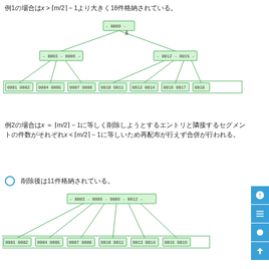例1の場合はxは⌈m/2⌉−1より大きく18件格納されている。
[Figure (other): B+ tree diagram with root node 0009, internal nodes 0003/0006 and 0012/0015, and leaf nodes 0001-0018]
例2の場合はxは⌈m/2⌉−1に等しく削除しようとするエントリと隣接するセグメントの件数がそれぞれ⌈m/2⌉−1に等しいため再配布が行えず合併が行われる。
削除後は11件格納されている。
[Figure (other): B+ tree diagram with root node containing 0003/0006/0009/0012 and leaf nodes 0001-0016]